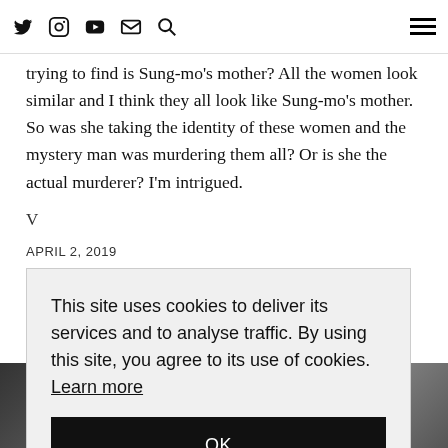[Navigation bar with social icons: Twitter, Instagram, YouTube, Email, Search, and hamburger menu]
trying to find is Sung-mo’s mother? All the women look similar and I think they all look like Sung-mo’s mother. So was she taking the identity of these women and the mystery man was murdering them all? Or is she the actual murderer? I’m intrigued.
V
APRIL 2, 2019
4 COMMENTS
This site uses cookies to deliver its services and to analyse traffic. By using this site, you agree to its use of cookies. Learn more
OK
[Figure (photo): Dark photo strip at bottom of page showing blurred figures]